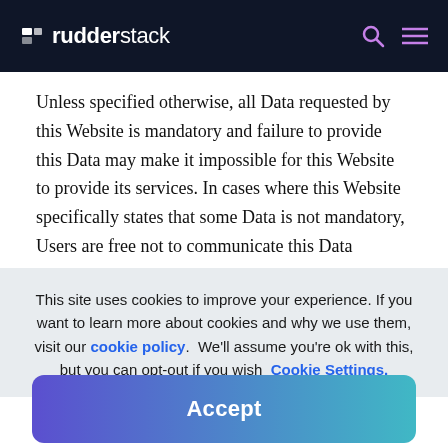rudderstack
Unless specified otherwise, all Data requested by this Website is mandatory and failure to provide this Data may make it impossible for this Website to provide its services. In cases where this Website specifically states that some Data is not mandatory, Users are free not to communicate this Data
This site uses cookies to improve your experience. If you want to learn more about cookies and why we use them, visit our cookie policy.  We'll assume you're ok with this, but you can opt-out if you wish  Cookie Settings.
Accept